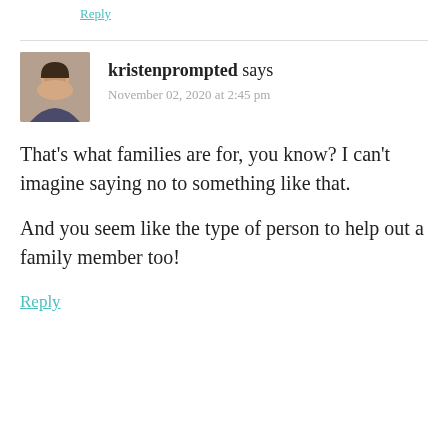Reply
kristenprompted says
November 02, 2020 at 2:45 pm
That’s what families are for, you know? I can’t imagine saying no to something like that.
And you seem like the type of person to help out a family member too!
Reply